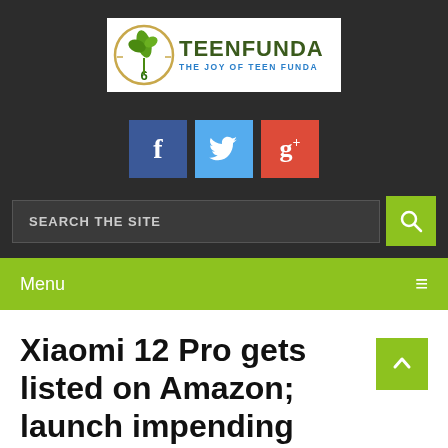[Figure (logo): TeenFunda logo with green leaf/pen icon and text 'TEENFUNDA - THE JOY OF TEEN FUNDA' on white background]
[Figure (other): Social media icons: Facebook (blue), Twitter (light blue), Google+ (red)]
SEARCH THE SITE
Menu
Xiaomi 12 Pro gets listed on Amazon; launch impending